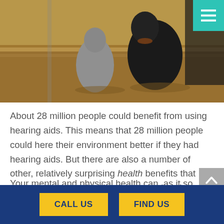[Figure (photo): Photo of two animals (appears to be dogs or livestock) in a dry grassy field, partially cropped at top]
About 28 million people could benefit from using hearing aids. This means that 28 million people could here their environment better if they had hearing aids. But there are also a number of other, relatively surprising health benefits that you can start to enjoy thanks to your hearing aids.
Your mental and physical health can, as it so happens, be helped by something as simple as wearing hearing aids. Everything from a risk of